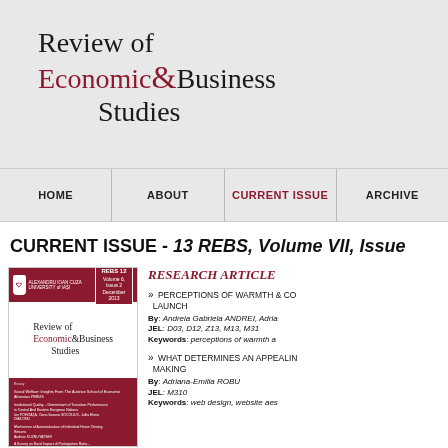[Figure (logo): Review of Economic & Business Studies journal logo with serif font, dark red ampersand]
HOME | ABOUT | CURRENT ISSUE | ARCHIVE
CURRENT ISSUE - 13 REBS, Volume VII, Issue
[Figure (photo): Journal cover showing Review of Economic & Business Studies, REBS 12, Volume 6 Issue 2, December 2013, dark red cover with table of contents]
RESEARCH ARTICLE
» PERCEPTIONS OF WARMTH & CO... LAUNCH
By: Andreia Gabriela ANDREI, Adria...
JEL: D03, D12, Z13, M13, M31
Keywords: perceptions of warmth a...
» WHAT DETERMINES AN APPEALING... MAKING
By: Adriana-Emilia ROBU
JEL: M310
Keywords: web design, website aes...